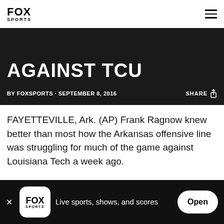FOX SPORTS
AGAINST TCU
BY FOXSPORTS · SEPTEMBER 8, 2016   SHARE
FAYETTEVILLE, Ark. (AP) Frank Ragnow knew better than most how the Arkansas offensive line was struggling for much of the game against Louisiana Tech a week ago.
That's why the Razorbacks guard was so desperate
Live sports, shows, and scores   Open